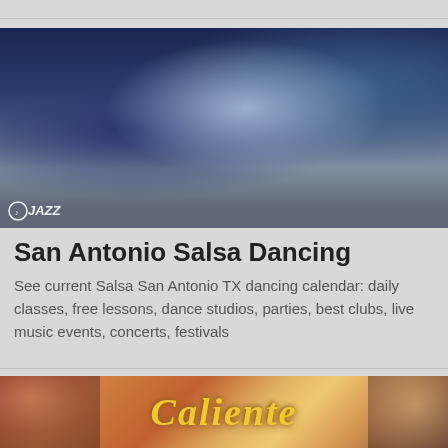[Figure (photo): People salsa dancing at a dance venue; woman in center with flowing hair wearing a tank top, man in blue polo in foreground, Jazz logo visible in bottom left corner]
San Antonio Salsa Dancing
See current Salsa San Antonio TX dancing calendar: daily classes, free lessons, dance studios, parties, best clubs, live music events, concerts, festivals
[Figure (photo): Partial image showing 'Caliente' text in golden script over a warm-toned background with a face visible on the right side]